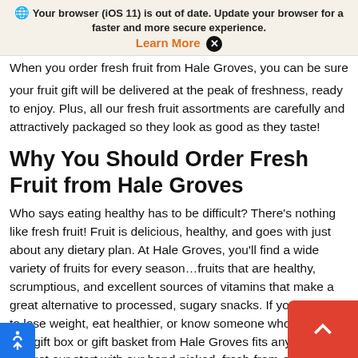🌐 Your browser (iOS 11) is out of date. Update your browser for a faster and more secure experience. Learn More ✕
When you order fresh fruit from Hale Groves, you can be sure that your fruit gift will be delivered at the peak of freshness, ready to enjoy. Plus, all our fresh fruit assortments are carefully and attractively packaged so they look as good as they taste!
Why You Should Order Fresh Fruit from Hale Groves
Who says eating healthy has to be difficult? There's nothing like fresh fruit! Fruit is delicious, healthy, and goes with just about any dietary plan. At Hale Groves, you'll find a wide variety of fruits for every season…fruits that are healthy, scrumptious, and excellent sources of vitamins that make a great alternative to processed, sugary snacks. If you're trying to lose weight, eat healthier, or know someone who is, a fresh fruit gift box or gift basket from Hale Groves fits any occasion. We got our start with our hand-picked, fresh-from-our-grove Indian River fruit that's still famous today. Our Ruby Red Grapefruit and Florida Grove Navel Oranges are where we started, but no we're about more than just citrus fruits…we also offer orch apples and pears, stones fruits like sweet Bing Cherries and